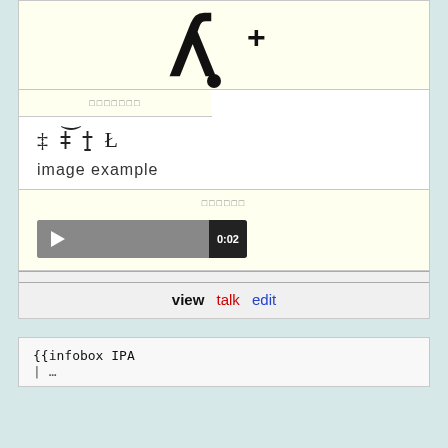[Figure (illustration): IPA phonetic symbol illustration showing a special consonant character with a superscript plus sign, rendered in bold black on a light yellow background]
□□□□□□□
[Figure (illustration): Four IPA phonetic symbols rendered in old-style serif font: ǂ ǃ ǁ or similar click consonant symbols]
image example
□□□□□□
[Figure (other): Audio player widget showing play button and 0:02 time display on gray background]
view talk edit
{{infobox IPA